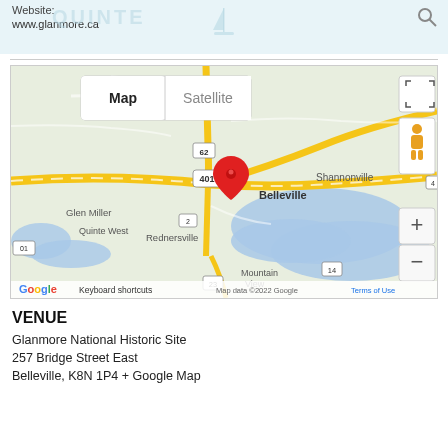Website:
www.glanmore.ca
[Figure (map): Google Map showing Belleville, Ontario area with a red location pin on Belleville. Shows surrounding areas including Shannonville, Glen Miller, Quinte West, Rednersville, Mountain View, and Marys. Shows highways 401, 62, 2, 23, 14. Map controls visible including Map/Satellite toggle, zoom buttons, fullscreen, and Street View pegman. Google branding, keyboard shortcuts and map data copyright 2022 Google shown at bottom.]
VENUE
Glanmore National Historic Site
257 Bridge Street East
Belleville, K8N 1P4 + Google Map